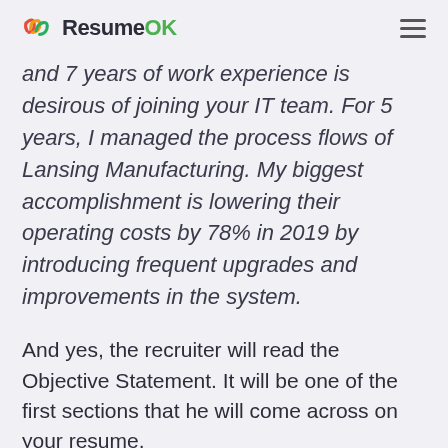ResumeOK
and 7 years of work experience is desirous of joining your IT team. For 5 years, I managed the process flows of Lansing Manufacturing. My biggest accomplishment is lowering their operating costs by 78% in 2019 by introducing frequent upgrades and improvements in the system.
And yes, the recruiter will read the Objective Statement. It will be one of the first sections that he will come across on your resume.